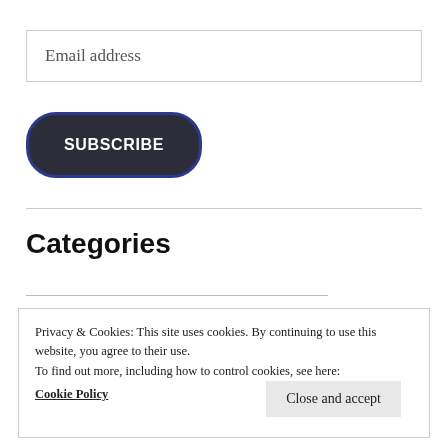Email address
[Figure (other): SUBSCRIBE button, dark rounded pill shape with blue border]
Categories
Privacy & Cookies: This site uses cookies. By continuing to use this website, you agree to their use.
To find out more, including how to control cookies, see here:
Cookie Policy
Close and accept